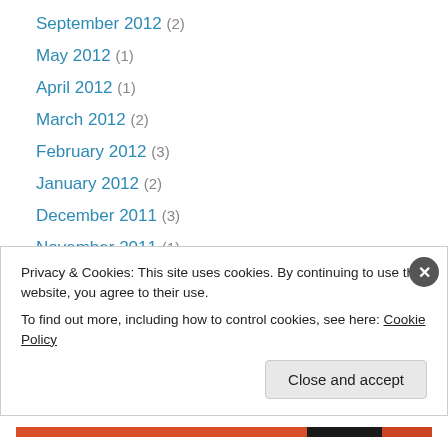September 2012 (2)
May 2012 (1)
April 2012 (1)
March 2012 (2)
February 2012 (3)
January 2012 (2)
December 2011 (3)
November 2011 (1)
August 2011 (1)
June 2011 (3)
May 2011 (1)
April 2011 (4)
August 2010 (1)
Privacy & Cookies: This site uses cookies. By continuing to use this website, you agree to their use. To find out more, including how to control cookies, see here: Cookie Policy